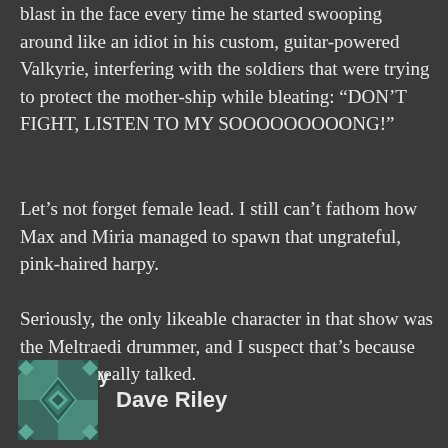blast in the face every time he started swooping around like an idiot in his custom, guitar-powered Valkyrie, interfering with the soldiers that were trying to protect the mother-ship while bleating: “DON’T FIGHT, LISTEN TO MY SOOOOOOOOONG!”
Let’s not forget female lead. I still can’t fathom how Max and Miria managed to spawn that ungrateful, pink-haired harpy.
Seriously, the only likeable character in that show was the Meltraedi drummer, and I suspect that’s because she never really talked.
Reply
Dave Riley